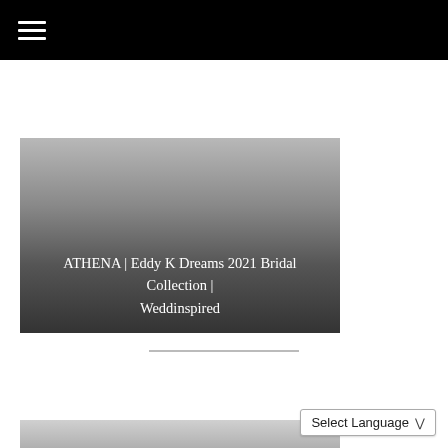☰
[Figure (photo): A bridal fashion image with gradient overlay at the bottom showing text: ATHENA | Eddy K Dreams 2021 Bridal Collection | Weddinspired]
ATHENA | Eddy K Dreams 2021 Bridal Collection | Weddinspired
[Figure (photo): Bottom partial image strip, gray gradient]
Select Language